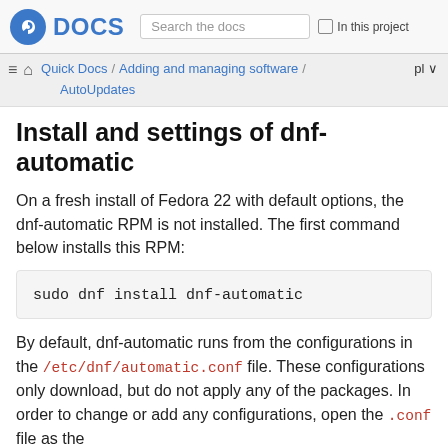Fedora DOCS | Search the docs | In this project
Quick Docs / Adding and managing software / AutoUpdates | pl
Install and settings of dnf-automatic
On a fresh install of Fedora 22 with default options, the dnf-automatic RPM is not installed. The first command below installs this RPM:
sudo dnf install dnf-automatic
By default, dnf-automatic runs from the configurations in the /etc/dnf/automatic.conf file. These configurations only download, but do not apply any of the packages. In order to change or add any configurations, open the .conf file as the